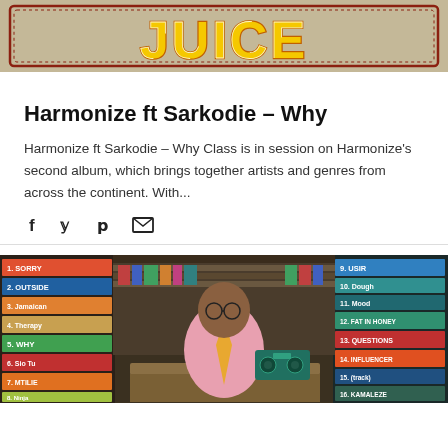[Figure (photo): Top portion of an article thumbnail showing a stylized logo/banner with yellow text on a red decorative background, partially cropped.]
Harmonize ft Sarkodie – Why
Harmonize ft Sarkodie – Why Class is in session on Harmonize's second album, which brings together artists and genres from across the continent. With...
[Figure (infographic): Social sharing icons: Facebook (f), Twitter (bird/y), Pinterest (p), and Email (envelope) icons in a row.]
[Figure (photo): Photo of a man in a pink shirt and tie sitting at a desk in a library setting, with colorful book spines visible on both sides. The book spines on the left read: 1. SORRY, 2. OUTSIDE, 3. Jamaican, 4. (something), 5. WHY, 6. (something), 7. MTILIE, 8. (something). On the right: 1. USIR, 10. Dough, 11. Mood, 12. FAT IN HONEY, 13. QUESTIONS, 14. INFLUENCER, 15. (something), 16. KAMALEZE.]